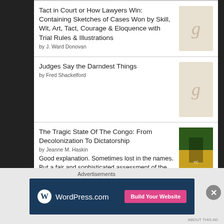Tact in Court or How Lawyers Win: Containing Sketches of Cases Won by Skill, Wit, Art, Tact, Courage & Eloquence with Trial Rules & Illustrations by J. Ward Donovan
Judges Say the Darndest Things by Fred Shackelford
The Tragic State Of The Congo: From Decolonization To Dictatorship by Jeanne M. Haskin
Good explanation. Sometimes lost in the names. But a fair and sophisticated assessment of the Congolese issues.
To Katanga and back: A UN case history by Conor Cruise O'Brien
Quite a humorous personal story.
Advertisements
[Figure (screenshot): WordPress.com advertisement banner with 'Build Your Website' button]